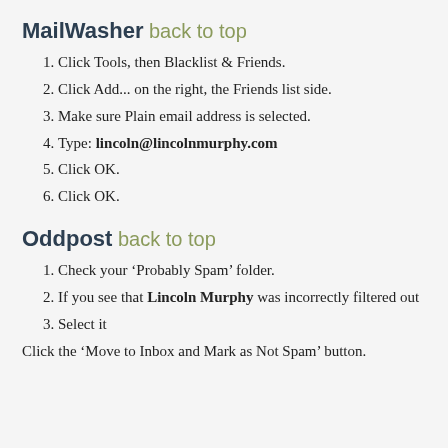MailWasher back to top
Click Tools, then Blacklist & Friends.
Click Add... on the right, the Friends list side.
Make sure Plain email address is selected.
Type: lincoln@lincolnmurphy.com
Click OK.
Click OK.
Oddpost back to top
Check your ‘Probably Spam’ folder.
If you see that Lincoln Murphy was incorrectly filtered out
Select it
Click the ‘Move to Inbox and Mark as Not Spam’ button.